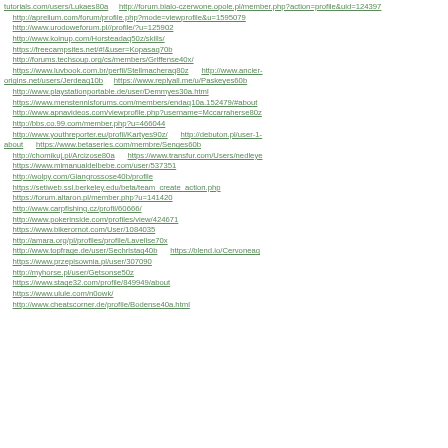tutorials.com/users/Lukaes80a  http://forum.bialo-czerwone.opole.pl/member.php?action=profile&uid=124397
    http://aprelium.com/forum/profile.php?mode=viewprofile&u=1595079
    http://www.urodoweforum.pl//profile/?u=125902
    http://www.koinup.com/Horsteadaq50z/skills/
    https://freecampsites.net/#!&user=Kopasaq70b
    http://forums.techsoup.org/cs/members/Griffense40x/
    https://www.luvbook.com.br/perfil/Stellmacheraq80z   http://www.ancier-origins.net/users/Jerdeaq10b   https://www.replyall.me/u/Paskeyes60b
    http://www.playstationportable.de/user/Demmyes30a.html
    https://www.menstennisforums.com/members/endaq10a.152479/#about
    http://www.apnavideos.com/viewprofile.php?username=Mccarraherse80z
    http://bbs.co.99.com/member.php?u=466044
    http://www.youthreporter.eu/profil/Kartyes90z/  http://debuton.pl/user-1-about   https://www.betaseries.com/membre/Senges60b
    http://chomikuj.pl/Arcizose80a   https://www.transfur.com/Users/nedleye
    https://www.mimanualdelbebe.com/user/537351
    http://wolpy.com/Giangrossose40b/profile
    https://setiweb.ssl.berkeley.edu/beta/team_create_action.php
    https://forum.altaron.pl/member.php?u=141420
    http://www.carpfishing.cz/profil/60666/
    http://www.pokerinside.com/profiles/view/424671
    https://www.bikerornot.com/User/1084035
    http://amara.org/pl/profiles/profile/Lavellse70x
    http://www.topfrage.de/user/Sechristaq40b   https://blend.io/Cervoneaq
    https://www.przepisownia.pl/user/307090
    http://myhorse.pl/user/Getsonse50z
    https://www.stage32.com/profile/849949/about
    https://www.ulule.com/n0owk/
    http://www.cheatscorner.de/profile/Bodense40a.html